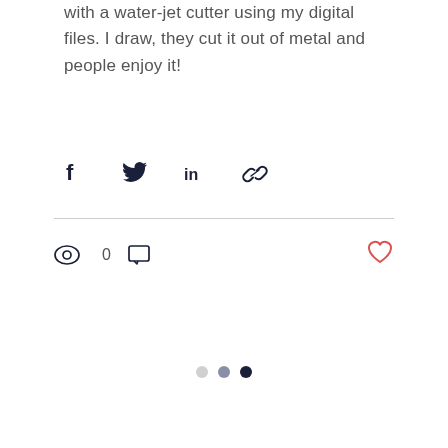with a water-jet cutter using my digital files. I draw, they cut it out of metal and people enjoy it!
[Figure (infographic): Social share icons: Facebook, Twitter, LinkedIn, Link]
[Figure (infographic): Stats bar: eye icon with count 0, comment icon; heart/like icon on the right]
[Figure (infographic): Three pagination dots: light gray, medium gray, dark navy]